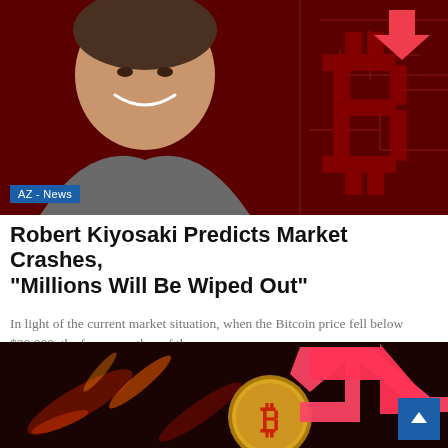[Figure (photo): Robert Kiyosaki smiling, wearing a grey blazer, overlaid with a large red Bitcoin logo on a dark red background with circuit-board patterns and a red downward arrow. AZ-News badge in lower left.]
Robert Kiyosaki Predicts Market Crashes, "Millions Will Be Wiped Out"
In light of the current market situation, when the Bitcoin price fell below $20,000, the famous author of the…
[Figure (photo): Bitcoin gold coin on dark red background with blurred red and orange light streaks, overlaid with a large pink/red downward arrow chart indicator.]